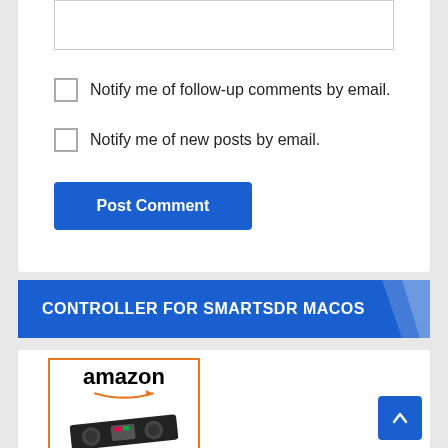Notify me of follow-up comments by email.
Notify me of new posts by email.
Post Comment
CONTROLLER FOR SMARTSDR MACOS
[Figure (logo): Amazon logo with orange arrow underneath, above a DJ controller device image]